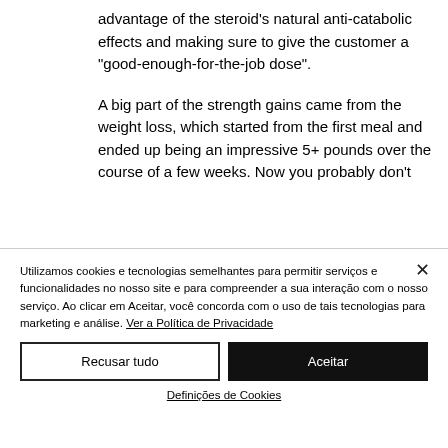advantage of the steroid's natural anti-catabolic effects and making sure to give the customer a "good-enough-for-the-job dose".
A big part of the strength gains came from the weight loss, which started from the first meal and ended up being an impressive 5+ pounds over the course of a few weeks. Now you probably don't think...
Utilizamos cookies e tecnologias semelhantes para permitir serviços e funcionalidades no nosso site e para compreender a sua interação com o nosso serviço. Ao clicar em Aceitar, você concorda com o uso de tais tecnologias para marketing e análise. Ver a Política de Privacidade